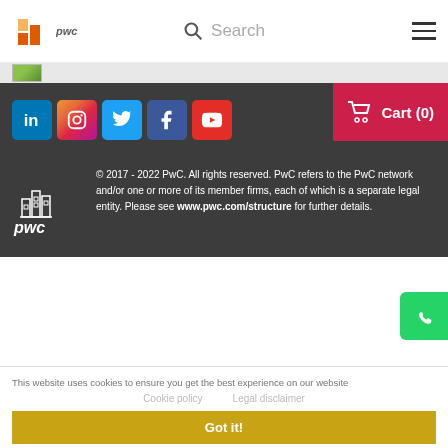[Figure (logo): PwC logo in top navigation bar]
Search
[Figure (screenshot): Small thumbnail image strip with green partial image]
[Figure (infographic): Social media icons: LinkedIn, Instagram, Twitter, Facebook, YouTube; Cart (0) button]
[Figure (logo): PwC logo in footer (white buildings icon with pwc text)]
© 2017 - 2022 PwC. All rights reserved. PwC refers to the PwC network and/or one or more of its member firms, each of which is a separate legal entity. Please see www.pwc.com/structure for further details.
This website uses cookies to ensure you get the best experience on our website
Cookie policy   Legal disclaimer
Got it!